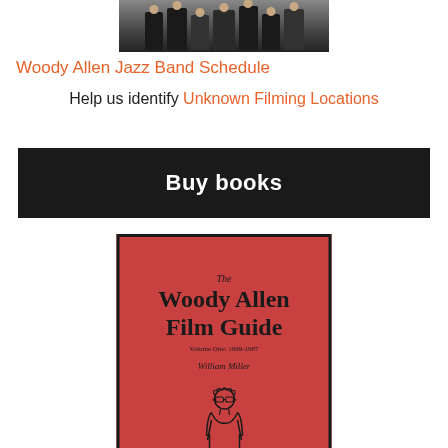[Figure (photo): Black and white or dark photo of a group of people (Woody Allen Jazz Band) at the top of the page, partially cropped]
Woody Allen Jazz Band Schedule
Help us identify Unknown Filming Locations
Buy books
[Figure (photo): Book cover of 'The Woody Allen Film Guide, Volume One: 1969-1987' by William Miller. Red background with black border and a line illustration of a figure resembling Woody Allen.]